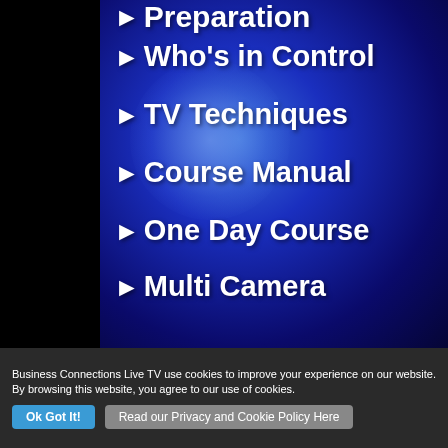[Figure (screenshot): Blue gradient panel with white bold menu items listing course topics with arrow bullets: Preparation (partial, top), Who's in Control, TV Techniques, Course Manual, One Day Course, Multi Camera]
Business Connections Live TV use cookies to improve your experience on our website. By browsing this website, you agree to our use of cookies.
Ok Got It!
Read our Privacy and Cookie Policy Here